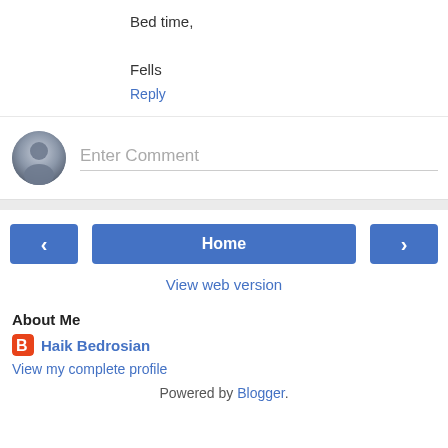Bed time,
Fells
Reply
Enter Comment
[Figure (illustration): Navigation bar with left arrow button, Home button, and right arrow button]
View web version
About Me
Haik Bedrosian
View my complete profile
Powered by Blogger.